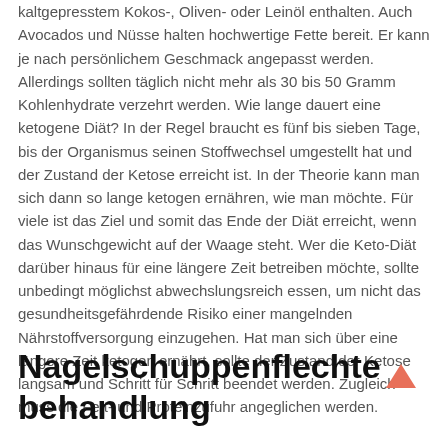kaltgepresstem Kokos-, Oliven- oder Leinöl enthalten. Auch Avocados und Nüsse halten hochwertige Fette bereit. Er kann je nach persönlichem Geschmack angepasst werden. Allerdings sollten täglich nicht mehr als 30 bis 50 Gramm Kohlenhydrate verzehrt werden. Wie lange dauert eine ketogene Diät? In der Regel braucht es fünf bis sieben Tage, bis der Organismus seinen Stoffwechsel umgestellt hat und der Zustand der Ketose erreicht ist. In der Theorie kann man sich dann so lange ketogen ernähren, wie man möchte. Für viele ist das Ziel und somit das Ende der Diät erreicht, wenn das Wunschgewicht auf der Waage steht. Wer die Keto-Diät darüber hinaus für eine längere Zeit betreiben möchte, sollte unbedingt möglichst abwechslungsreich essen, um nicht das gesundheitsgefährdende Risiko einer mangelnden Nährstoffversorgung einzugehen. Hat man sich über eine längere Zeit ketogen ernährt, sollte der Zustand der Ketose langsam und Schritt für Schritt beendet werden. Zugleich muss die Fett- und Proteinzufuhr angeglichen werden.
Nagelschuppenflechte behandlung